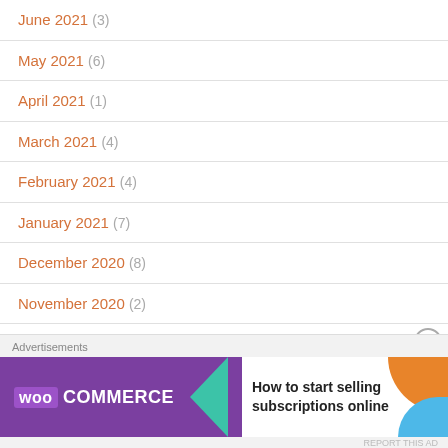June 2021 (3)
May 2021 (6)
April 2021 (1)
March 2021 (4)
February 2021 (4)
January 2021 (7)
December 2020 (8)
November 2020 (2)
October 2020 (5)
September 2020 (6)
[Figure (screenshot): WooCommerce advertisement banner: 'How to start selling subscriptions online']